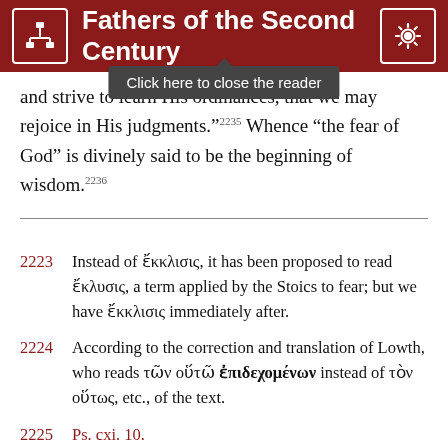Fathers of the Second Century
and strive to learn His ordinances, that we may rejoice in His judgments.”²2235 Whence “the fear of God” is divinely said to be the beginning of wisdom.²2236
2223  Instead of ἔκκλισις, it has been proposed to read ἔκλυσις, a term applied by the Stoics to fear; but we have ἔκκλισις immediately after.
2224  According to the correction and translation of Lowth, who reads τῶν οὕτῶ ἐπιδεχομένων instead of τὸν οὕτως, etc., of the text.
2225  Ps. cxi. 10.